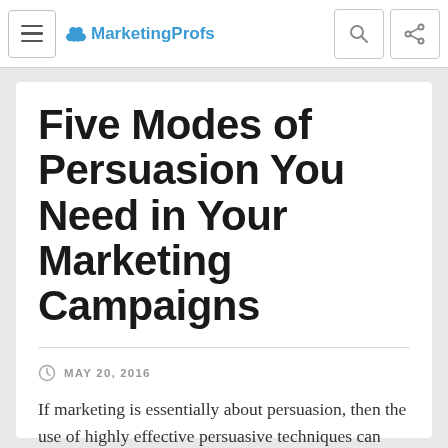MarketingProfs
Five Modes of Persuasion You Need in Your Marketing Campaigns
MAY 20, 2016
If marketing is essentially about persuasion, then the use of highly effective persuasive techniques can take a campaign goal to the